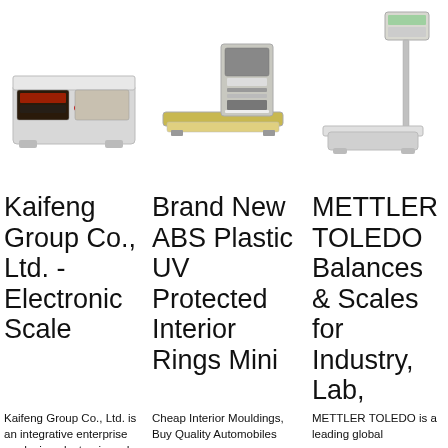[Figure (photo): Electronic weighing scale with digital display, Kaifeng Group]
[Figure (photo): Brand New ABS Plastic UV Protected Interior Rings Mini scale with printer unit]
[Figure (photo): METTLER TOLEDO balance scale on pole stand with platform]
Kaifeng Group Co., Ltd. - Electronic Scale
Brand New ABS Plastic UV Protected Interior Rings Mini
METTLER TOLEDO Balances & Scales for Industry, Lab,
Kaifeng Group Co., Ltd. is an integrative enterprise producing electronic and mechanical
Cheap Interior Mouldings, Buy Quality Automobiles
METTLER TOLEDO is a leading global